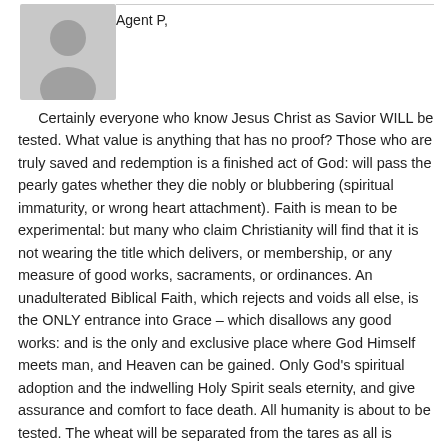[Figure (illustration): Gray placeholder avatar icon showing a silhouette of a person, typical of a web comment/forum profile picture.]
Agent P,
Certainly everyone who know Jesus Christ as Savior WILL be tested. What value is anything that has no proof? Those who are truly saved and redemption is a finished act of God: will pass the pearly gates whether they die nobly or blubbering (spiritual immaturity, or wrong heart attachment). Faith is mean to be experimental: but many who claim Christianity will find that it is not wearing the title which delivers, or membership, or any measure of good works, sacraments, or ordinances. An unadulterated Biblical Faith, which rejects and voids all else, is the ONLY entrance into Grace – which disallows any good works: and is the only and exclusive place where God Himself meets man, and Heaven can be gained. Only God's spiritual adoption and the indwelling Holy Spirit seals eternity, and give assurance and comfort to face death. All humanity is about to be tested. The wheat will be separated from the tares as all is threshed. Those